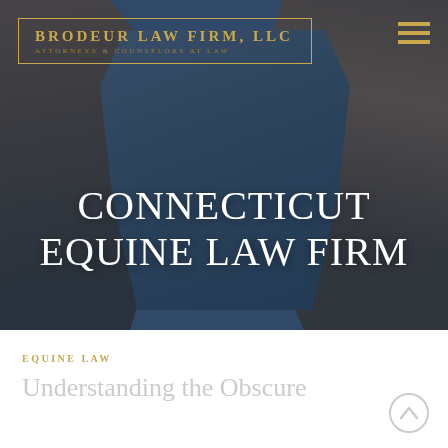[Figure (photo): Website screenshot of Brodeur Law Firm LLC showing horses in background with navy/brown tones and overlay]
CONNECTICUT EQUINE LAW FIRM
EQUINE LAW
Understanding the Obscure